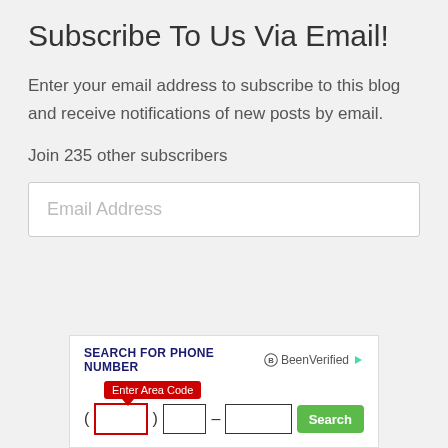Subscribe To Us Via Email!
Enter your email address to subscribe to this blog and receive notifications of new posts by email.
Join 235 other subscribers
Email Address
[Figure (infographic): Ad banner: SEARCH FOR PHONE NUMBER with BeenVerified logo, phone number input fields with area code tooltip and Search button]